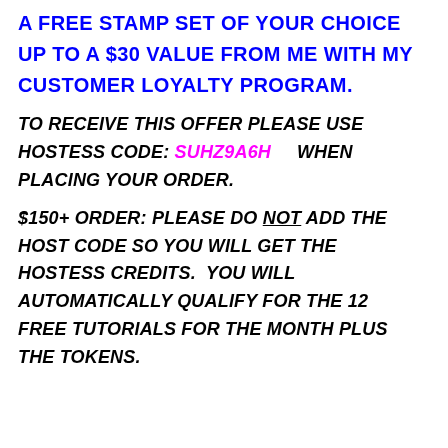A FREE STAMP SET OF YOUR CHOICE UP TO A $30 VALUE FROM ME WITH MY CUSTOMER LOYALTY PROGRAM.
TO RECEIVE THIS OFFER PLEASE USE HOSTESS CODE: SUHZ9A6H    WHEN PLACING YOUR ORDER.
$150+ ORDER: PLEASE DO NOT ADD THE HOST CODE SO YOU WILL GET THE HOSTESS CREDITS.  YOU WILL AUTOMATICALLY QUALIFY FOR THE 12 FREE TUTORIALS FOR THE MONTH PLUS THE TOKENS.